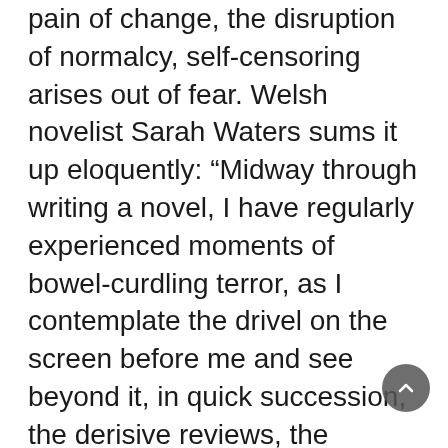pain of change, the disruption of normalcy, self-censoring arises out of fear. Welsh novelist Sarah Waters sums it up eloquently: “Midway through writing a novel, I have regularly experienced moments of bowel-curdling terror, as I contemplate the drivel on the screen before me and see beyond it, in quick succession, the derisive reviews, the friends’ embarrassment, the failing career, the dwindling income, the repossessed house, the divorce…” We know self-censoring by many names. Carl Jung called it our “inner critic.” Michael Ray and Rochelle Myers called it the “voice of judgment” in their classic book, in Business, based on a popular course they co-taught at Stanford University Graduate